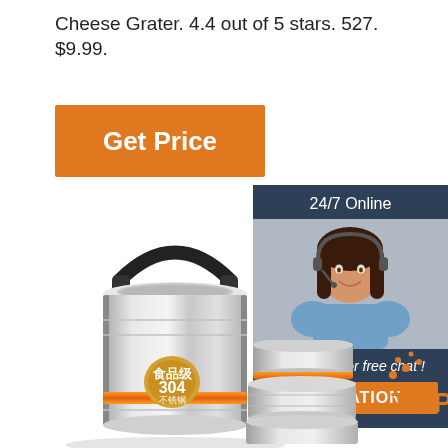Cheese Grater. 4.4 out of 5 stars. 527. $9.99.
[Figure (other): Orange 'Get Price' button]
[Figure (infographic): 24/7 Online customer support panel with agent photo, 'Click here for free chat!' text, and orange QUOTATION button]
[Figure (photo): Stainless steel insulated food container/lunch box with black handle and orange ring accent, showing 304 stainless steel label]
[Figure (photo): Stacked stainless steel food container components on right side with TOP badge in orange]
[Figure (other): TOP badge with orange dots and text]